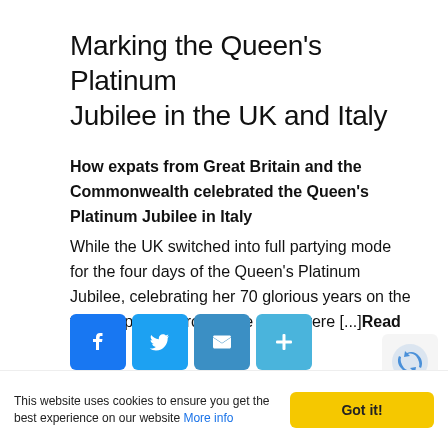Marking the Queen's Platinum Jubilee in the UK and Italy
How expats from Great Britain and the Commonwealth celebrated the Queen's Platinum Jubilee in Italy
While the UK switched into full partying mode for the four days of the Queen's Platinum Jubilee, celebrating her 70 glorious years on the throne, people around the world were [...]Read More
[Figure (other): Social sharing icons: Facebook (blue), Twitter (blue), Email (blue), Add/Share (blue)]
[Figure (other): reCAPTCHA badge]
This website uses cookies to ensure you get the best experience on our website More info